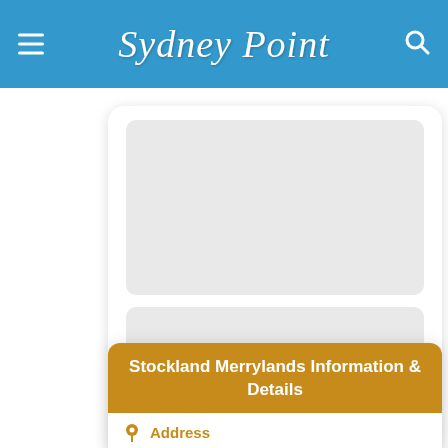Sydney Point
[Figure (screenshot): Two stacked placeholder image boxes with rounded corners on a white card]
Stockland Merrylands Information & Details
Address